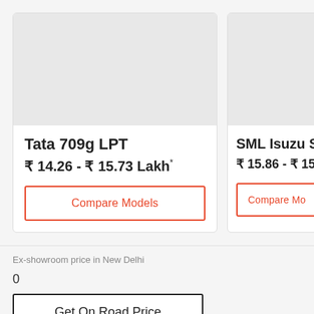[Figure (photo): Car listing card image placeholder (grey box) for Tata 709g LPT]
Tata 709g LPT
₹ 14.26 - ₹ 15.73 Lakh*
Compare Models
[Figure (photo): Car listing card image placeholder (grey box) for SML Isuzu Super G]
SML Isuzu Super G
₹ 15.86 - ₹ 15.88
Compare Mo
Ex-showroom price in New Delhi
0
Get On Road Price